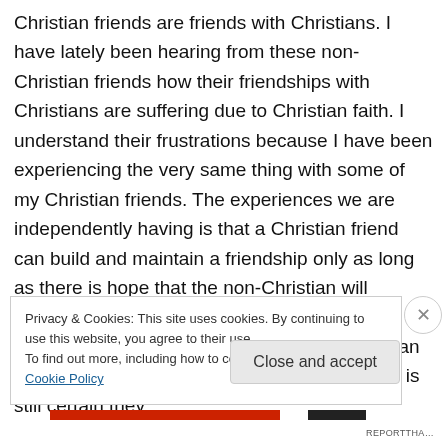Christian friends are friends with Christians. I have lately been hearing from these non-Christian friends how their friendships with Christians are suffering due to Christian faith. I understand their frustrations because I have been experiencing the very same thing with some of my Christian friends. The experiences we are independently having is that a Christian friend can build and maintain a friendship only as long as there is hope that the non-Christian will convert to Christianity. After enough time, the Christian comes to realize that the non-Christian friend does in fact understand Christianity and is still certain they
Privacy & Cookies: This site uses cookies. By continuing to use this website, you agree to their use.
To find out more, including how to control cookies, see here: Cookie Policy
Close and accept